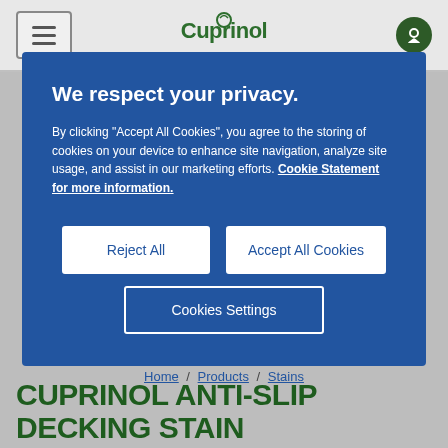Cuprinol website header with menu icon, logo, and location icon
We respect your privacy.
By clicking "Accept All Cookies", you agree to the storing of cookies on your device to enhance site navigation, analyze site usage, and assist in our marketing efforts. Cookie Statement for more information.
Reject All
Accept All Cookies
Cookies Settings
Home / Products / Stains
CUPRINOL ANTI-SLIP DECKING STAIN